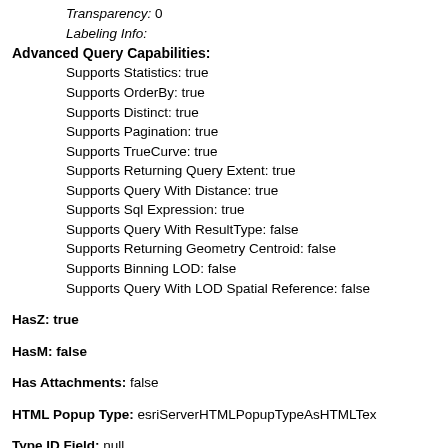Transparency: 0
Labeling Info:
Advanced Query Capabilities:
Supports Statistics: true
Supports OrderBy: true
Supports Distinct: true
Supports Pagination: true
Supports TrueCurve: true
Supports Returning Query Extent: true
Supports Query With Distance: true
Supports Sql Expression: true
Supports Query With ResultType: false
Supports Returning Geometry Centroid: false
Supports Binning LOD: false
Supports Query With LOD Spatial Reference: false
HasZ: true
HasM: false
Has Attachments: false
HTML Popup Type: esriServerHTMLPopupTypeAsHTMLTex
Type ID Field: null
Fields:
OBJECTID ( type: esriFieldTypeOID, alias: OBJECTID